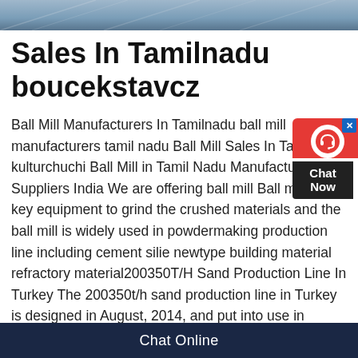[Figure (photo): Partial view of industrial/construction equipment or structure, blue-grey tones, cropped at top of page]
Sales In Tamilnadu boucekstavcz
Ball Mill Manufacturers In Tamilnadu ball mill manufacturers tamil nadu Ball Mill Sales In Tamilnadu kulturchuchi Ball Mill in Tamil Nadu Manufacturers and Suppliers India We are offering ball mill Ball mill is a key equipment to grind the crushed materials and the ball mill is widely used in powdermaking production line including cement silie newtype building material refractory material200350T/H Sand Production Line In Turkey The 200350t/h sand production line in Turkey is designed in August, 2014, and put into use in October Granite Crushing And Screening Line In Norway Main Equipments: PE1200×1500
[Figure (infographic): Chat Now widget — red background with white headset icon, dark bottom panel with 'Chat Now' text, blue X close button]
Chat Online